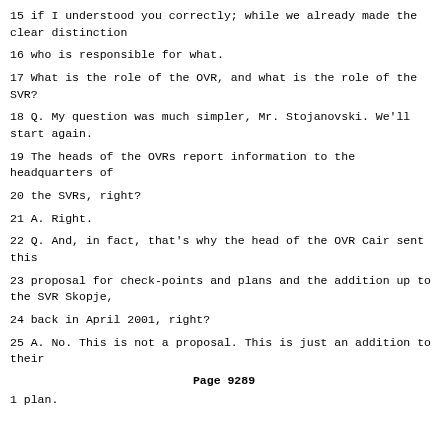15 if I understood you correctly; while we already made the clear distinction
16 who is responsible for what.
17 What is the role of the OVR, and what is the role of the SVR?
18 Q. My question was much simpler, Mr. Stojanovski. We'll start again.
19 The heads of the OVRs report information to the headquarters of
20 the SVRs, right?
21 A. Right.
22 Q. And, in fact, that's why the head of the OVR Cair sent this
23 proposal for check-points and plans and the addition up to the SVR Skopje,
24 back in April 2001, right?
25 A. No. This is not a proposal. This is just an addition to their
Page 9289
1 plan.